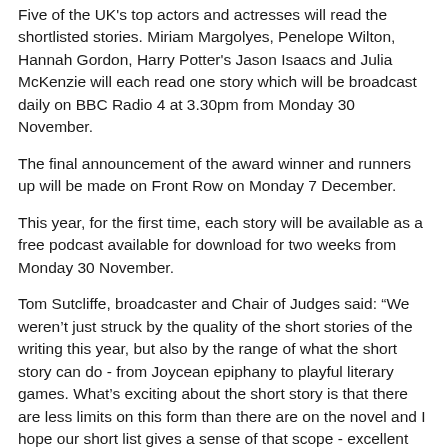Five of the UK's top actors and actresses will read the shortlisted stories. Miriam Margolyes, Penelope Wilton, Hannah Gordon, Harry Potter's Jason Isaacs and Julia McKenzie will each read one story which will be broadcast daily on BBC Radio 4 at 3.30pm from Monday 30 November.
The final announcement of the award winner and runners up will be made on Front Row on Monday 7 December.
This year, for the first time, each story will be available as a free podcast available for download for two weeks from Monday 30 November.
Tom Sutcliffe, broadcaster and Chair of Judges said: “We weren’t just struck by the quality of the short stories of the writing this year, but also by the range of what the short story can do - from Joycean epiphany to playful literary games. What’s exciting about the short story is that there are less limits on this form than there are on the novel and I hope our short list gives a sense of that scope - excellent writing in very different forms and voices.”